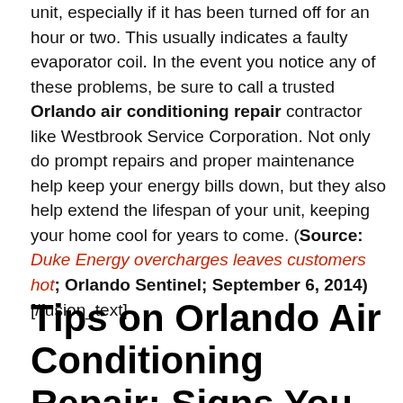unit, especially if it has been turned off for an hour or two. This usually indicates a faulty evaporator coil. In the event you notice any of these problems, be sure to call a trusted Orlando air conditioning repair contractor like Westbrook Service Corporation. Not only do prompt repairs and proper maintenance help keep your energy bills down, but they also help extend the lifespan of your unit, keeping your home cool for years to come. (Source: Duke Energy overcharges leaves customers hot; Orlando Sentinel; September 6, 2014)[/fusion_text]
Tips on Orlando Air Conditioning Repair: Signs You Need an AC Recharge